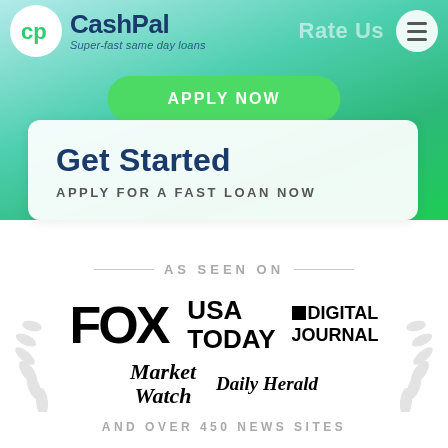[Figure (screenshot): CashPal logo with circular CP icon and tagline 'Super-fast same day loans']
Rate Us
APPLY NOW
Get Started
APPLY FOR A FAST LOAN NOW
AS SEEN ON
[Figure (logo): FOX logo in bold black text]
[Figure (logo): USA TODAY logo in bold black text]
[Figure (logo): Digital Journal logo with black square and bold text]
[Figure (logo): MarketWatch logo in bold italic serif]
[Figure (logo): Daily Herald logo in italic serif]
AND OVER 450 NEWS SITES